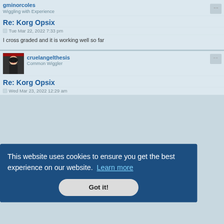gminorcoles
Wiggling with Experience
Re: Korg Opsix
Tue Mar 22, 2022 7:33 pm
I cross graded and it is working well so far
cruelangelthesis
Common Wiggler
Re: Korg Opsix
Wed Mar 23, 2022 12:29 am
[Figure (screenshot): Cookie consent banner overlay with dark blue background reading 'This website uses cookies to ensure you get the best experience on our website. Learn more' and a 'Got it!' button]
Wed Mar 23, 2022 8:09 am